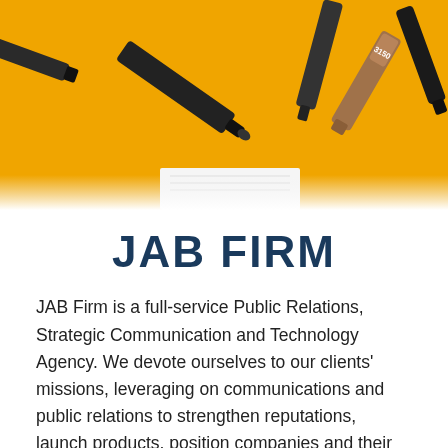[Figure (photo): Photo of black markers and pens falling/scattered on an orange/yellow background, with a white notepad visible at the bottom. One marker shows the number 3150.]
JAB FIRM
JAB Firm is a full-service Public Relations, Strategic Communication and Technology Agency. We devote ourselves to our clients' missions, leveraging on communications and public relations to strengthen reputations, launch products, position companies and their leaders, change narratives and starve off media and government investigations.
At JAB Firm we have the power of effective...